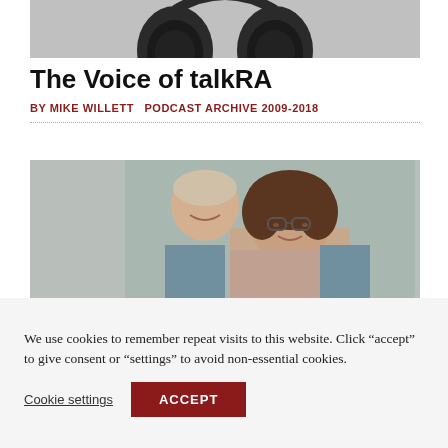[Figure (photo): Partial view of black over-ear headphones on a light grey background, cropped at top]
The Voice of talkRA
BY MIKE WILLETT  PODCAST ARCHIVE 2009-2018
[Figure (photo): Elderly couple smiling, the woman in the foreground wearing glasses and a patterned top, the man behind her with his hands on her shoulders, against a light teal background]
We use cookies to remember repeat visits to this website. Click “accept” to give consent or “settings” to avoid non-essential cookies.
Cookie settings
ACCEPT